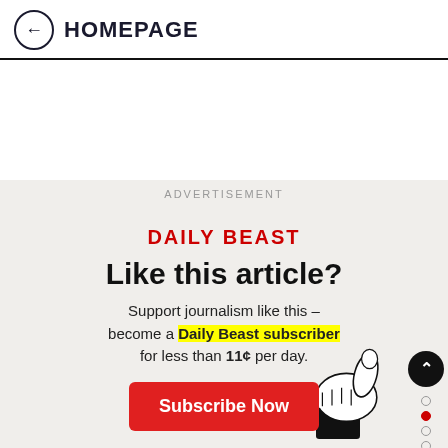← HOMEPAGE
ADVERTISEMENT
[Figure (infographic): Daily Beast subscription advertisement with logo, 'Like this article?' headline, support text with highlighted 'Daily Beast subscriber' link, Subscribe Now button, and thumbs up illustration. Right side navigation with up/down arrows and dot indicators.]